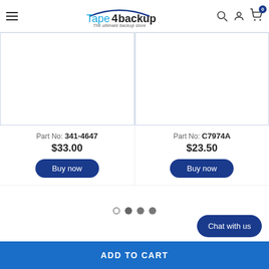Tape4backup - The ultimate backup store
[Figure (other): Product image placeholder (white box with blue border) for Part No 341-4647]
Part No: 341-4647
$33.00
Buy now
[Figure (other): Product image placeholder (white box with blue border) for Part No C7974A]
Part No: C7974A
$23.50
Buy now
Chat with us
ADD TO CART